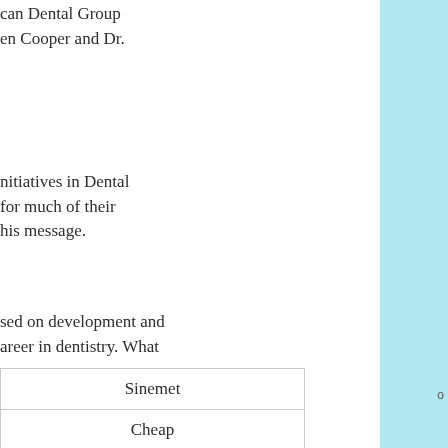can Dental Group
en Cooper and Dr.
nitiatives in Dental
for much of their
his message.
sed on development and
areer in dentistry. What
| Sinemet |
| Cheap |
| 61 |
| Yes |